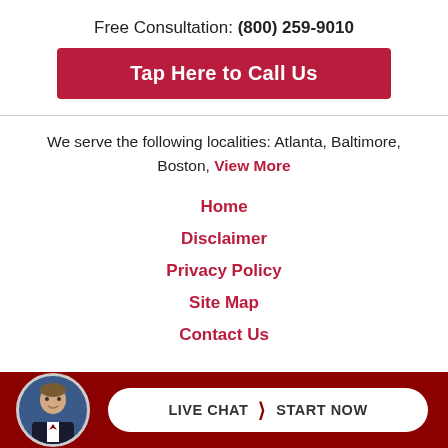Free Consultation: (800) 259-9010
Tap Here to Call Us
We serve the following localities: Atlanta, Baltimore, Boston, View More
Home
Disclaimer
Privacy Policy
Site Map
Contact Us
LIVE CHAT START NOW